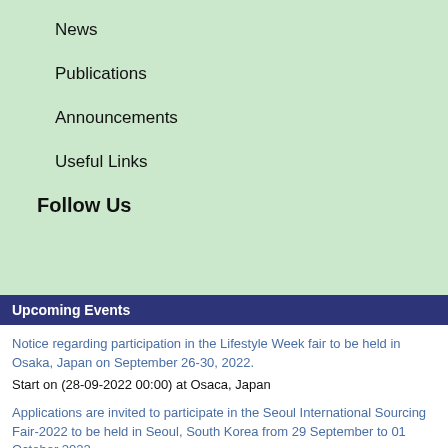News
Publications
Announcements
Useful Links
Follow Us
Upcoming Events
Notice regarding participation in the Lifestyle Week fair to be held in Osaka, Japan on September 26-30, 2022.
Start on (28-09-2022 00:00) at Osaca, Japan
Applications are invited to participate in the Seoul International Sourcing Fair-2022 to be held in Seoul, South Korea from 29 September to 01 October 2022